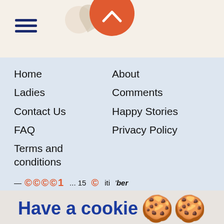[Figure (screenshot): Top navigation bar with hamburger menu icon (three blue horizontal lines), decorative circle and leaf shapes, and an orange circular button with a caret/chevron up icon in the center top.]
Home
Ladies
Contact Us
FAQ
Terms and conditions
About
Comments
Happy Stories
Privacy Policy
— ... ©©©©1 ... 15 © iti 'ber
Have a cookie 🍪🍪
This site uses cookies to offer you a better browsing experience. Find out more on how we use cookies and how you can change your settings.
Accept All
Cookie settings page